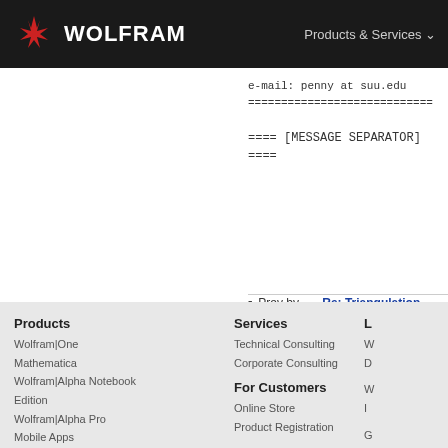WOLFRAM  Products & Services
e-mail: penny at suu.edu
============================
==== [MESSAGE SEPARATOR] ====
Prev by Date: Re: Triangulation Problem
Next by Date: Re: Readability suggestion
Previous by thread: Readability suggestio
Next by thread: Re: Readability suggestio
Products
Wolfram|One
Mathematica
Wolfram|Alpha Notebook Edition
Wolfram|Alpha Pro
Mobile Apps
Finance Platform

Services
Technical Consulting
Corporate Consulting

For Customers
Online Store
Product Registration